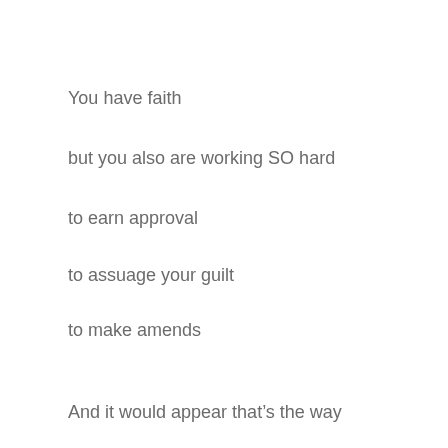You have faith
but you also are working SO hard
to earn approval
to assuage your guilt
to make amends
And it would appear that’s the way